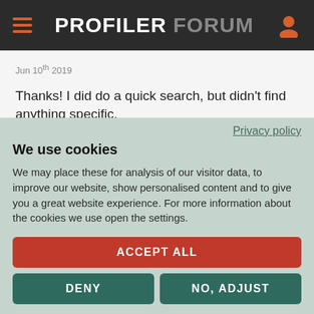PROFILER FORUM
Jun 10th 2019
Thanks! I did do a quick search, but didn't find anything specific.
4-5 years is a long time to wait! 🙂
Privacy policy
We use cookies
We may place these for analysis of our visitor data, to improve our website, show personalised content and to give you a great website experience. For more information about the cookies we use open the settings.
ACCEPT ALL
DENY
NO, ADJUST